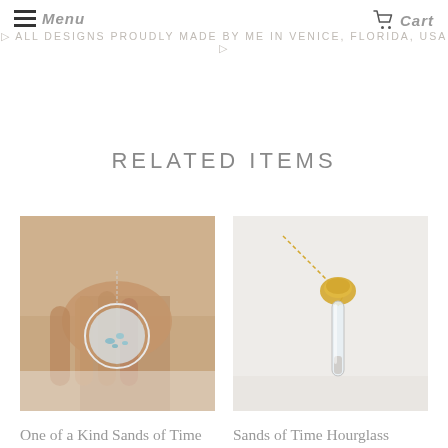Menu | ALL DESIGNS PROUDLY MADE BY ME IN VENICE, FLORIDA, USA | Cart
RELATED ITEMS
[Figure (photo): Hand holding a round crystal/glass locket necklace with blue aquamarine chips inside, on a silver chain.]
[Figure (photo): Hourglass-shaped glass pendant necklace with gold ornate top cap on a gold chain, with sand inside.]
One of a Kind Sands of Time Shake Necklace with
Sands of Time Hourglass Shake Necklace